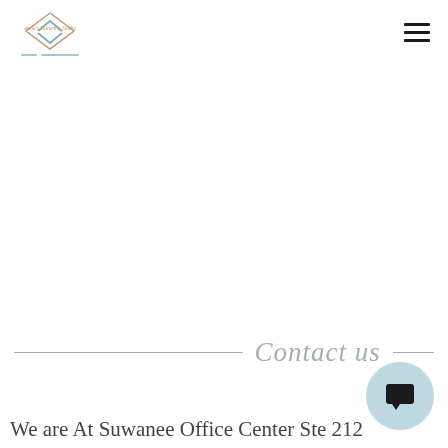Anna's Tailoring Studio logo and navigation
Contact us
We are At Suwanee Office Center Ste 212